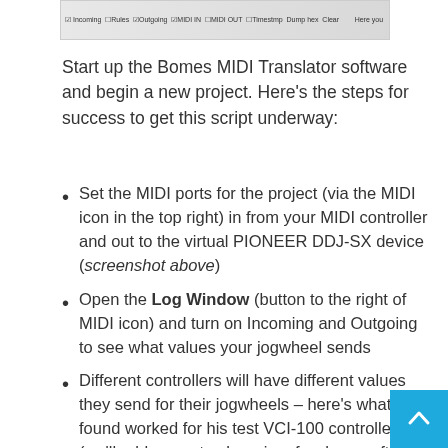[Figure (screenshot): Screenshot of Bomes MIDI Translator software log window toolbar with checkboxes for Incoming, Rules, Outgoing, MIDI IN, MIDI OUT, Timestmp, Dump hex, Clear]
Start up the Bomes MIDI Translator software and begin a new project. Here's the steps for success to get this script underway:
Set the MIDI ports for the project (via the MIDI icon in the top right) in from your MIDI controller and out to the virtual PIONEER DDJ-SX device (screenshot above)
Open the Log Window (button to the right of MIDI icon) and turn on Incoming and Outgoing to see what values your jogwheel sends
Different controllers will have different values they send for their jogwheels – here's what Teo found worked for his test VCI-100 controller (we'll add our notes here in a few hours after additional testing):